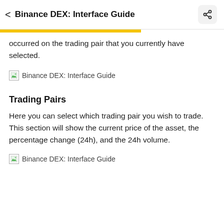Binance DEX: Interface Guide
occurred on the trading pair that you currently have selected.
[Figure (screenshot): Broken image placeholder labeled 'Binance DEX: Interface Guide']
Trading Pairs
Here you can select which trading pair you wish to trade. This section will show the current price of the asset, the percentage change (24h), and the 24h volume.
[Figure (screenshot): Broken image placeholder labeled 'Binance DEX: Interface Guide']